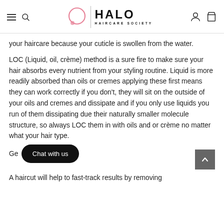HALO HAIRCARE SOCIETY
your haircare because your cuticle is swollen from the water.
LOC (Liquid, oil, crème) method is a sure fire to make sure your hair absorbs every nutrient from your styling routine. Liquid is more readily absorbed than oils or cremes applying these first means they can work correctly if you don't, they will sit on the outside of your oils and cremes and dissipate and if you only use liquids you run of them dissipating due their naturally smaller molecule structure, so always LOC them in with oils and or crème no matter what your hair type.
Get... (Chat with us button)
A haircut will help to fast-track results by removing